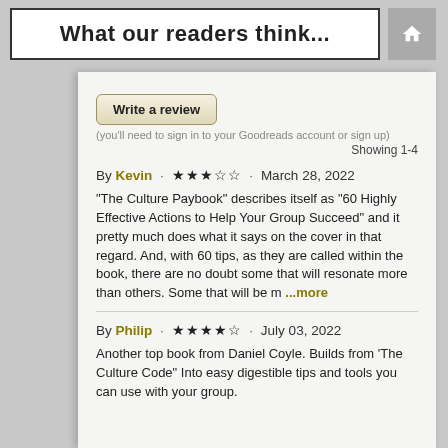What our readers think...
Write a review
(you'll need to sign in to your Goodreads account or sign up)
Showing 1-4
By Kevin · ★★★☆☆ · March 28, 2022
"The Culture Paybook" describes itself as "60 Highly Effective Actions to Help Your Group Succeed" and it pretty much does what it says on the cover in that regard. And, with 60 tips, as they are called within the book, there are no doubt some that will resonate more than others. Some that will be m ...more
By Philip · ★★★★☆ · July 03, 2022
Another top book from Daniel Coyle. Builds from 'The Culture Code" Into easy digestible tips and tools you can use with your group.